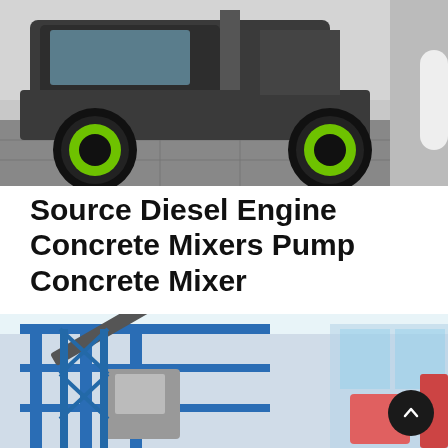[Figure (photo): Green diesel engine concrete mixer truck photographed in an indoor showroom with dark tiled floor. The machine has bright green wheel rims and large black tires.]
Source Diesel Engine Concrete Mixers Pump Concrete Mixer
Diesel Engine Concrete Mixers Pump Concrete Mixer with Pump 40m3/h, You can get more details about from mobile site on m.alibaba.com $20,000.00 - $26,000.00 Min. Order : 1 Set
Learn More
[Figure (photo): Industrial concrete batching plant with blue metal structure, conveyor belts, and mixing equipment photographed outdoors. Red and pink panels visible on the right.]